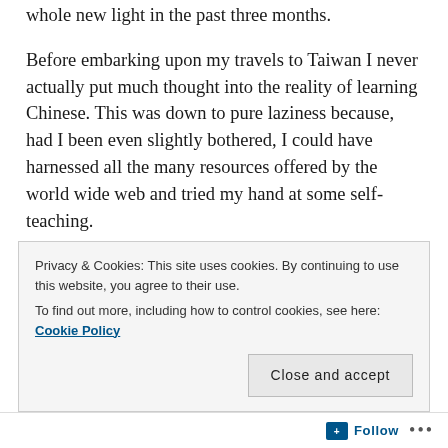whole new light in the past three months.
Before embarking upon my travels to Taiwan I never actually put much thought into the reality of learning Chinese. This was down to pure laziness because, had I been even slightly bothered, I could have harnessed all the many resources offered by the world wide web and tried my hand at some self-teaching.
But I didn't.
Instead I languished in my blissful ignorance. So ignorant was my bliss I decided to enrol in the
Privacy & Cookies: This site uses cookies. By continuing to use this website, you agree to their use.
To find out more, including how to control cookies, see here: Cookie Policy
Follow ...